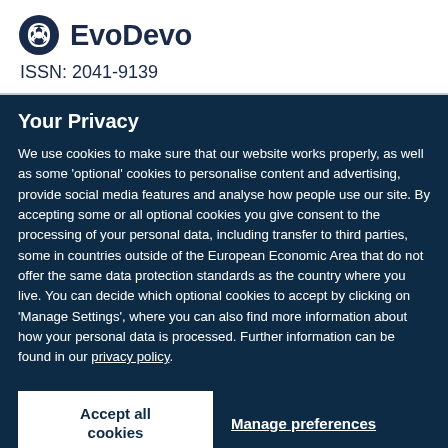[Figure (logo): EvoDevo journal logo with circular icon and text 'EvoDevo']
ISSN: 2041-9139
Your Privacy
We use cookies to make sure that our website works properly, as well as some ‘optional’ cookies to personalise content and advertising, provide social media features and analyse how people use our site. By accepting some or all optional cookies you give consent to the processing of your personal data, including transfer to third parties, some in countries outside of the European Economic Area that do not offer the same data protection standards as the country where you live. You can decide which optional cookies to accept by clicking on ‘Manage Settings’, where you can also find more information about how your personal data is processed. Further information can be found in our privacy policy.
Accept all cookies
Manage preferences